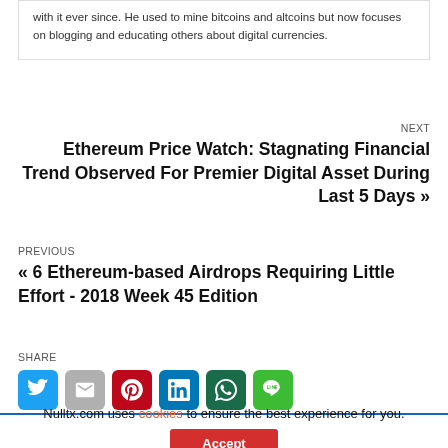with it ever since. He used to mine bitcoins and altcoins but now focuses on blogging and educating others about digital currencies.
NEXT
Ethereum Price Watch: Stagnating Financial Trend Observed For Premier Digital Asset During Last 5 Days »
PREVIOUS
« 6 Ethereum-based Airdrops Requiring Little Effort - 2018 Week 45 Edition
SHARE
[Figure (infographic): Row of six social share icon buttons: Twitter (blue bird), Gmail (gray M), Pinterest (red P), LinkedIn (blue in), WhatsApp (dark green speech bubble), Line (green speech bubble)]
Nulltx.com uses cookies to ensure the best experience for you.
Accept